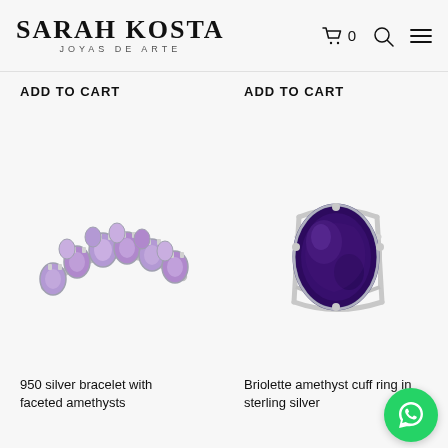SARAH KOSTA JOYAS DE ARTE — cart icon, search icon, menu icon
ADD TO CART
ADD TO CART
[Figure (photo): 950 silver bracelet with multiple faceted amethyst oval purple gemstones set in silver prong settings]
[Figure (photo): Briolette amethyst cuff ring in sterling silver — large dark purple oval cabochon stone set on a triple-band open silver ring]
950 silver bracelet with faceted amethysts
Briolette amethyst cuff ring in sterling silver